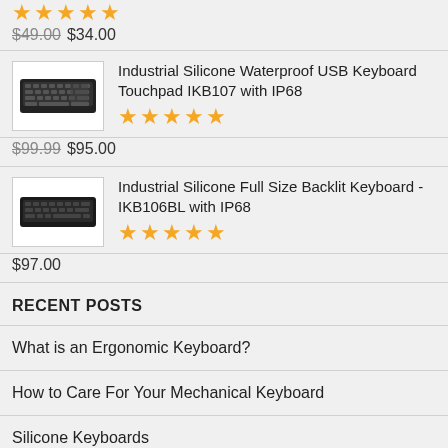★★★★★ $49.00 $34.00
[Figure (photo): Industrial Silicone Waterproof USB Keyboard Touchpad IKB107 product image]
Industrial Silicone Waterproof USB Keyboard Touchpad IKB107 with IP68
★★★★★ $99.99 $95.00
[Figure (photo): Industrial Silicone Full Size Backlit Keyboard - IKB106BL product image]
Industrial Silicone Full Size Backlit Keyboard - IKB106BL with IP68
★★★★★ $97.00
RECENT POSTS
What is an Ergonomic Keyboard?
How to Care For Your Mechanical Keyboard
Silicone Keyboards
The Car Steering Wheel Holder for Smart Phone is here!